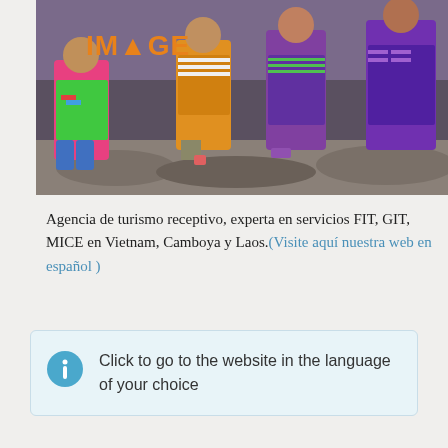[Figure (photo): Photo of children in colorful traditional clothing walking on a rocky path. An orange 'IMAGE' logo with a mountain/sun icon is overlaid in the top-left corner of the photo.]
Agencia de turismo receptivo, experta en servicios FIT, GIT, MICE en Vietnam, Camboya y Laos.(Visite aquí nuestra web en español )
Click to go to the website in the language of your choice